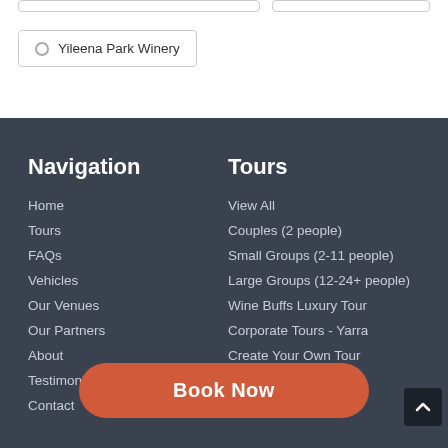Yileena Park Winery
Navigation
Home
Tours
FAQs
Vehicles
Our Venues
Our Partners
About
Testimonials
Contact
Tours
View All
Couples (2 people)
Small Groups (2-11 people)
Large Groups (12-24+ people)
Wine Buffs Luxury Tour
Corporate Tours - Yarra
Create Your Own Tour
Book Now